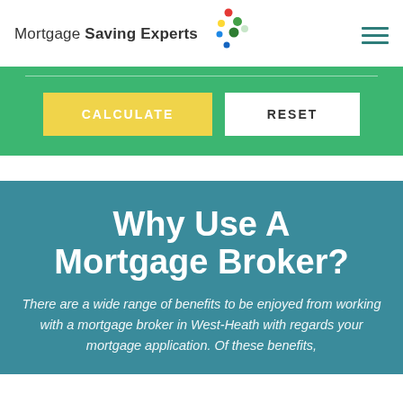[Figure (logo): Mortgage Saving Experts logo with colorful dots graphic and text]
[Figure (other): Hamburger menu icon with three horizontal teal lines]
[Figure (other): Green calculator section with CALCULATE and RESET buttons]
Why Use A Mortgage Broker?
There are a wide range of benefits to be enjoyed from working with a mortgage broker in West-Heath with regards your mortgage application. Of these benefits,